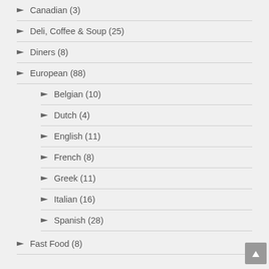Canadian (3)
Deli, Coffee & Soup (25)
Diners (8)
European (88)
Belgian (10)
Dutch (4)
English (11)
French (8)
Greek (11)
Italian (16)
Spanish (28)
Fast Food (8)